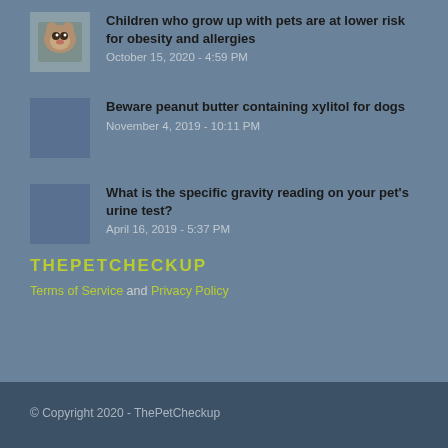Children who grow up with pets are at lower risk for obesity and allergies
October 15, 2020 - 4:59 PM
Beware peanut butter containing xylitol for dogs
November 4, 2019 - 10:11 PM
What is the specific gravity reading on your pet's urine test?
April 16, 2019 - 5:37 PM
THEPETCHECKUP
Terms of Service and Privacy Policy
© Copyright 2020 - ThePetCheckup